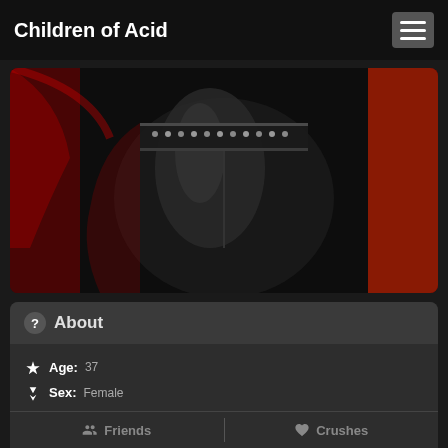Children of Acid
[Figure (photo): Profile photo showing leather pants with studded belt, red accents visible on sides, dark background]
About
Age: 37
Sex: Female
Sexuality: Curious
Relationship: Single
Occupation: Art & Science
Location: Antwerp Belgium
Facebook: View
Friends  |  Crushes